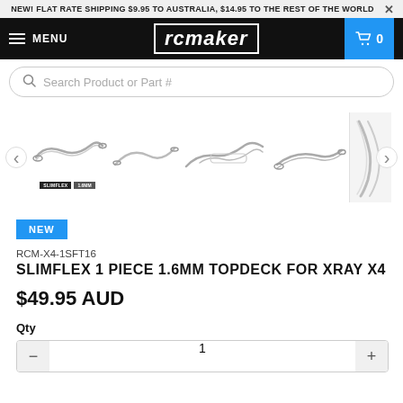NEW! FLAT RATE SHIPPING $9.95 TO AUSTRALIA, $14.95 TO THE REST OF THE WORLD
[Figure (logo): RCMaker logo in stylized italic text with white border on black background]
Search Product or Part #
[Figure (photo): Product carousel showing 5 images of the Slimflex 1 Piece 1.6mm Topdeck for Xray X4 from different angles]
NEW
RCM-X4-1SFT16
SLIMFLEX 1 PIECE 1.6MM TOPDECK FOR XRAY X4
$49.95 AUD
Qty